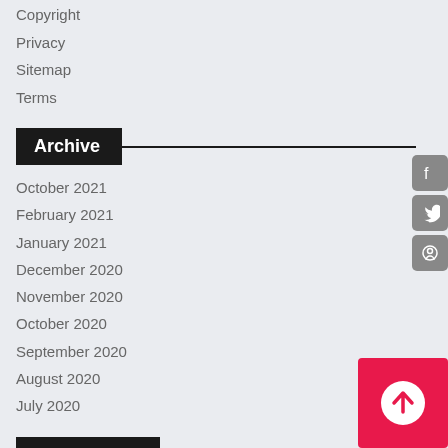Copyright
Privacy
Sitemap
Terms
Archive
October 2021
February 2021
January 2021
December 2020
November 2020
October 2020
September 2020
August 2020
July 2020
Recent Post
Business Intelligence Resume Sample
P&c Insurance Business Analyst Resume